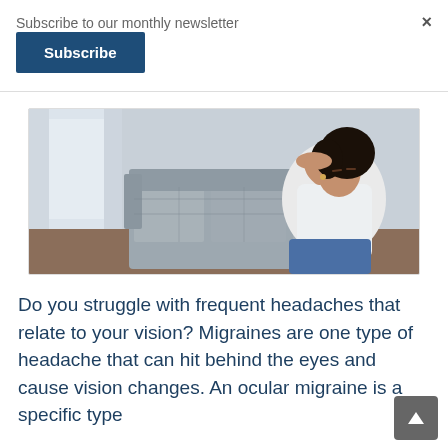Subscribe to our monthly newsletter
Subscribe
[Figure (photo): Woman sitting on floor against sofa with hand on forehead, eyes closed, appearing to have a headache or migraine]
Do you struggle with frequent headaches that relate to your vision? Migraines are one type of headache that can hit behind the eyes and cause vision changes. An ocular migraine is a specific type